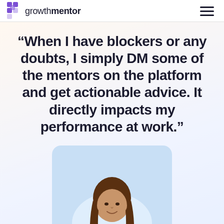growthmentor
“When I have blockers or any doubts, I simply DM some of the mentors on the platform and get actionable advice. It directly impacts my performance at work.”
[Figure (photo): Portrait photo of a young woman with long brown hair, smiling, set against a light blue rounded rectangle background card.]